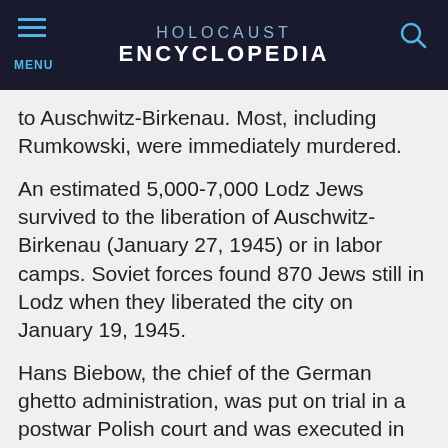HOLOCAUST ENCYCLOPEDIA
to Auschwitz-Birkenau. Most, including Rumkowski, were immediately murdered.
An estimated 5,000-7,000 Lodz Jews survived to the liberation of Auschwitz-Birkenau (January 27, 1945) or in labor camps. Soviet forces found 870 Jews still in Lodz when they liberated the city on January 19, 1945.
Hans Biebow, the chief of the German ghetto administration, was put on trial in a postwar Polish court and was executed in June 1947.
Last Edited: Aug 30, 2019
Author(s): United States Holocaust Memorial Museum, Washington, DC
SEE ALSO